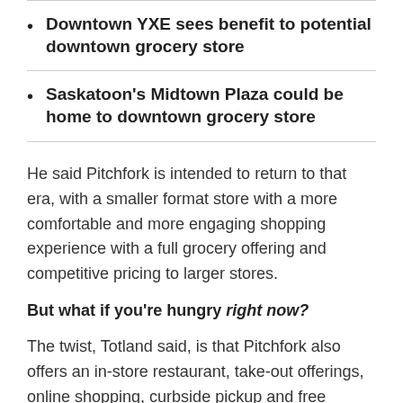Downtown YXE sees benefit to potential downtown grocery store
Saskatoon's Midtown Plaza could be home to downtown grocery store
He said Pitchfork is intended to return to that era, with a smaller format store with a more comfortable and more engaging shopping experience with a full grocery offering and competitive pricing to larger stores.
But what if you're hungry right now?
The twist, Totland said, is that Pitchfork also offers an in-store restaurant, take-out offerings, online shopping, curbside pickup and free